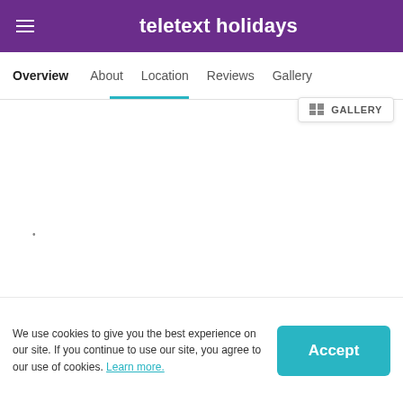teletext holidays
Overview  About  Location  Reviews  Gallery
[Figure (screenshot): Gallery button with grid icon in top right]
Limited Availability: Prices are updated regularly, call us for the latest live price
We use cookies to give you the best experience on our site. If you continue to use our site, you agree to our use of cookies. Learn more.